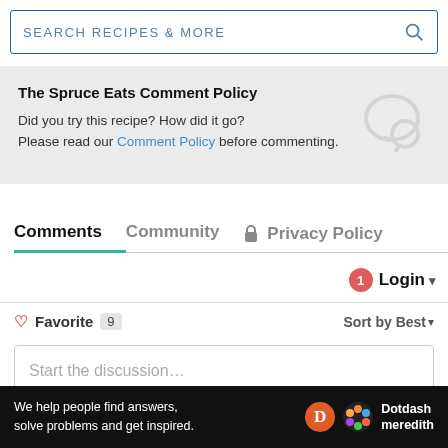SEARCH RECIPES & MORE
The Spruce Eats Comment Policy
Did you try this recipe? How did it go? Please read our Comment Policy before commenting.
Comments   Community   Privacy Policy
Login
Favorite  9   Sort by Best
Start the discussion...
LOG IN WITH
We help people find answers, solve problems and get inspired.   Dotdash meredith